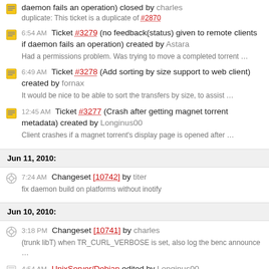daemon fails an operation) closed by charles
duplicate: This ticket is a duplicate of #2870
6:54 AM Ticket #3279 (no feedback(status) given to remote clients if daemon fails an operation) created by Astara
Had a permissions problem. Was trying to move a completed torrent ...
6:49 AM Ticket #3278 (Add sorting by size support to web client) created by fornax
It would be nice to be able to sort the transfers by size, to assist ...
12:45 AM Ticket #3277 (Crash after getting magnet torrent metadata) created by Longinus00
Client crashes if a magnet torrent's display page is opened after ...
Jun 11, 2010:
7:24 AM Changeset [10742] by titer
fix daemon build on platforms without inotify
Jun 10, 2010:
3:18 PM Changeset [10741] by charles
(trunk libT) when TR_CURL_VERBOSE is set, also log the benc announce ...
4:54 AM UnixServer/Debian edited by Longinus00